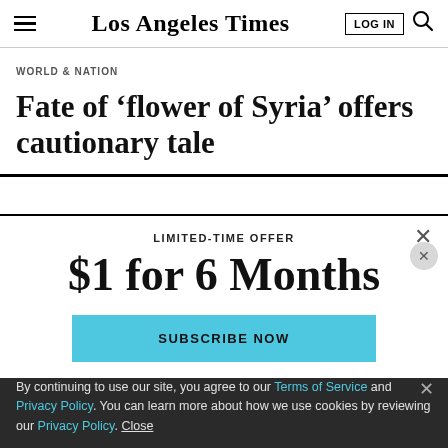Los Angeles Times
WORLD & NATION
Fate of ‘flower of Syria’ offers cautionary tale
LIMITED-TIME OFFER
$1 for 6 Months
SUBSCRIBE NOW
By continuing to use our site, you agree to our Terms of Service and Privacy Policy. You can learn more about how we use cookies by reviewing our Privacy Policy. Close